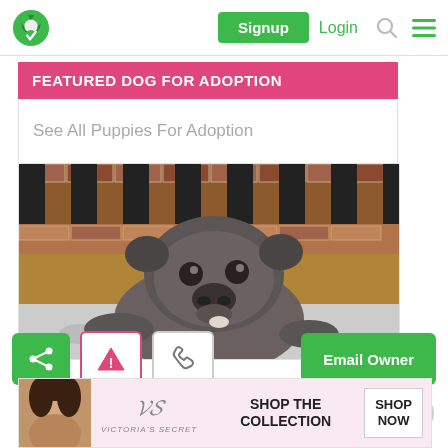Signup | Login
FEATURED DOG FOR ADOPTION
See All Puppies For Adoption
[Figure (photo): A gray/brown bulldog puppy lying on a spotted blanket in front of a brick wall background]
[Figure (infographic): Action buttons row: share (green), warning (pink border, triangle icon), phone (gray border), Email Owner (green)]
[Figure (infographic): Victoria's Secret advertisement banner: model photo, VS logo, SHOP THE COLLECTION text, SHOP NOW button]